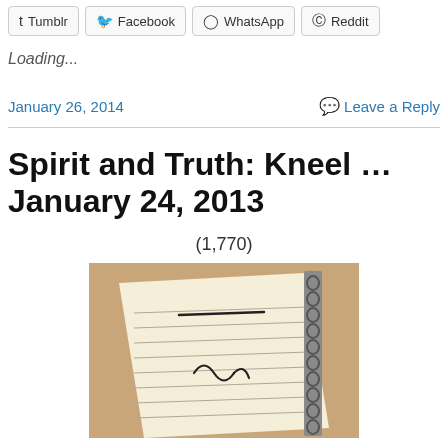Tumblr  Facebook  WhatsApp  Reddit
Loading...
January 26, 2014   Leave a Reply
Spirit and Truth: Kneel … January 24, 2013
(1,770)
[Figure (photo): Photo of a spiral-bound notebook with handwriting on lined paper, placed at an angle on a wooden surface.]